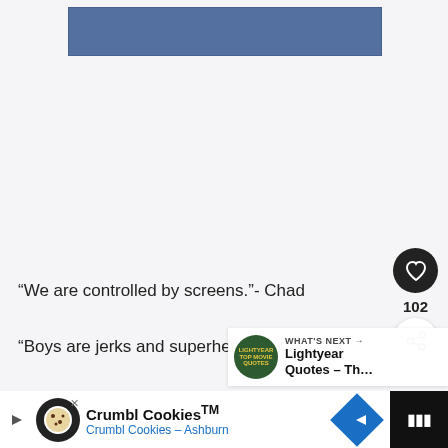[Figure (other): Blue banner/advertisement rectangle at top of page]
“We are controlled by screens.”- Chad
“Boys are jerks and superheroes suck.”- Vi
“You have the stage to yourself.”- Evelyn to Elastigirl
[Figure (other): Heart/like button (black circle with heart icon), count 102, and share button]
[Figure (other): What's Next panel: Lightyear Top Movie Quotes thumbnail with text 'WHAT'S NEXT → Lightyear Quotes – Th...']
[Figure (other): Ad bar at bottom: Crumbl Cookies advertisement with icon, text 'Crumbl Cookies™ / Crumbl Cookies – Ashburn', navigation diamond, and dark right panel]